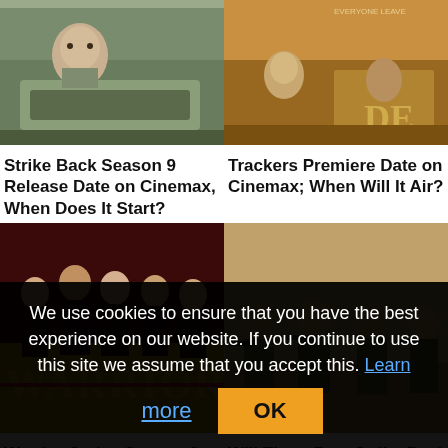[Figure (photo): Movie/show thumbnail for Strike Back Season 9 - person near military vehicle]
[Figure (photo): Movie/show thumbnail for Trackers - desert/action scene with text overlay DE]
Strike Back Season 9 Release Date on Cinemax, When Does It Start?
Trackers Premiere Date on Cinemax; When Will It Air?
[Figure (photo): Warrior series thumbnail - men in suits with WARRIOR text]
[Figure (photo): Strike Back thumbnail - soldiers in tactical gear]
Warrior Series Season 2
Will There Be a Strike Back
We use cookies to ensure that you have the best experience on our website. If you continue to use this site we assume that you accept this. Learn more  OK